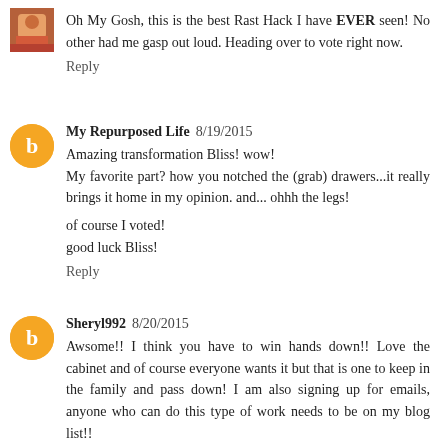Oh My Gosh, this is the best Rast Hack I have EVER seen! No other had me gasp out loud. Heading over to vote right now.
Reply
My Repurposed Life 8/19/2015
Amazing transformation Bliss! wow!
My favorite part? how you notched the (grab) drawers...it really brings it home in my opinion. and... ohhh the legs!

of course I voted!
good luck Bliss!
Reply
Sheryl992 8/20/2015
Awsome!! I think you have to win hands down!! Love the cabinet and of course everyone wants it but that is one to keep in the family and pass down! I am also signing up for emails, anyone who can do this type of work needs to be on my blog list!!